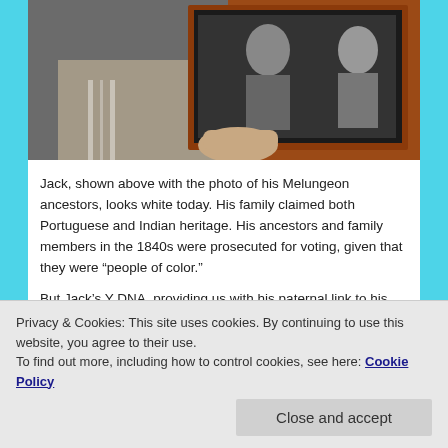[Figure (photo): A man holding a framed black-and-white portrait photo of his Melungeon ancestors against a brick wall background.]
Jack, shown above with the photo of his Melungeon ancestors, looks white today.  His family claimed both Portuguese and Indian heritage.  His ancestors and family members in the 1840s were prosecuted for voting, given that they were “people of color.”
But Jack’s Y DNA, providing us with his paternal link to his
Privacy & Cookies: This site uses cookies. By continuing to use this website, you agree to their use.
To find out more, including how to control cookies, see here: Cookie Policy
relatives to document your various lines, creating your